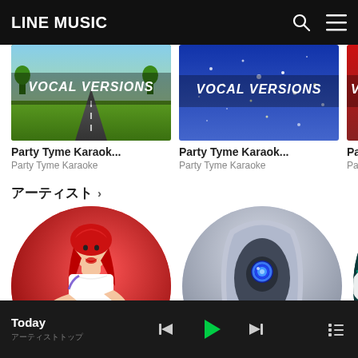LINE MUSIC
[Figure (photo): Album cover with road and text VOCAL VERSIONS on green/nature background - Party Tyme Karaok...]
Party Tyme Karaok...
Party Tyme Karaoke
[Figure (photo): Album cover with sparkles and text VOCAL VERSIONS on blue background - Party Tyme Karaok...]
Party Tyme Karaok...
Party Tyme Karaoke
[Figure (photo): Album cover with text VOCAL VI on red background - Party Tyme (partially visible)]
アーティスト ›
[Figure (photo): Circular photo of red-haired woman in white crop top and black skirt holding microphone on red background]
[Figure (photo): Circular photo of grey robot/android figure with blue eye on light grey background]
[Figure (photo): Circular photo partially visible with teal/neon background and next arrow button]
Today
アーティストトップ